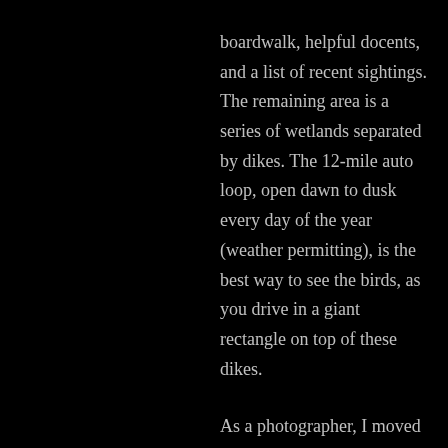boardwalk, helpful docents, and a list of recent sightings. The remaining area is a series of wetlands separated by dikes. The 12-mile auto loop, open dawn to dusk every day of the year (weather permitting), is the best way to see the birds, as you drive in a giant rectangle on top of these dikes.
As a photographer, I moved slowly, stopping often to take pictures. One major frustration was the dearth of pullovers—most of the